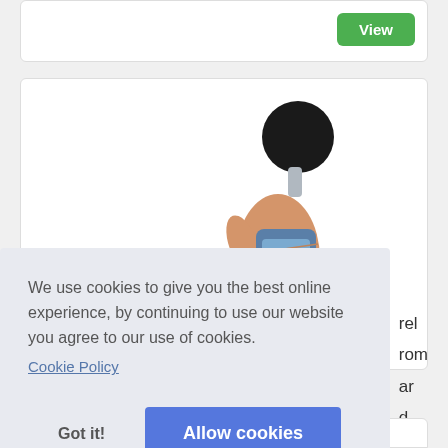[Figure (screenshot): Top white card with a green 'View' button in the top right corner]
[Figure (photo): White card showing a hand holding a sound level meter (decibel meter) with a black spherical microphone windscreen on top]
rel
rom
ar
d...
We use cookies to give you the best online experience, by continuing to use our website you agree to our use of cookies.
Cookie Policy
Got it!
Allow cookies